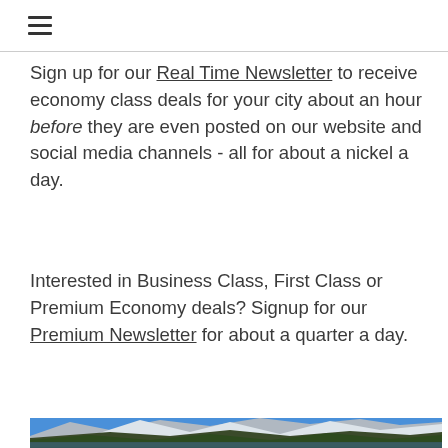≡
Sign up for our Real Time Newsletter to receive economy class deals for your city about an hour before they are even posted on our website and social media channels - all for about a nickel a day.
Interested in Business Class, First Class or Premium Economy deals? Signup for our Premium Newsletter for about a quarter a day.
[Figure (photo): Mountain landscape with snow-capped peaks, conifer forests, green meadows, and a lake in the foreground reflecting the mountains under a blue sky]